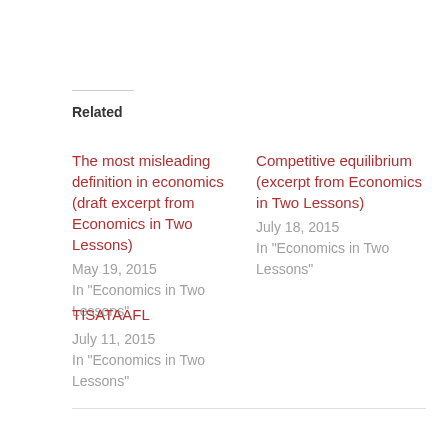Related
The most misleading definition in economics (draft excerpt from Economics in Two Lessons)
May 19, 2015
In "Economics in Two Lessons"
Competitive equilibrium (excerpt from Economics in Two Lessons)
July 18, 2015
In "Economics in Two Lessons"
TISATAAFL
July 11, 2015
In "Economics in Two Lessons"